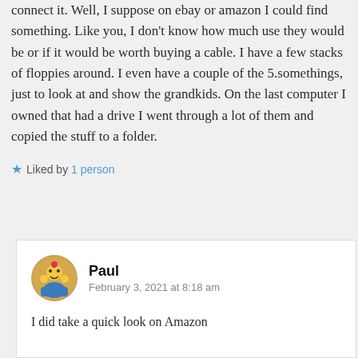connect it. Well, I suppose on ebay or amazon I could find something. Like you, I don't know how much use they would be or if it would be worth buying a cable. I have a few stacks of floppies around. I even have a couple of the 5.somethings, just to look at and show the grandkids. On the last computer I owned that had a drive I went through a lot of them and copied the stuff to a folder.
Liked by 1 person
Paul
February 3, 2021 at 8:18 am
I did take a quick look on Amazon